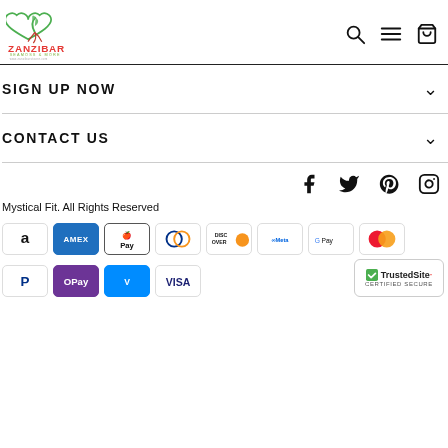Zanzibar Seamoss & More — site header with logo and navigation icons
SIGN UP NOW
CONTACT US
[Figure (infographic): Social media icons: Facebook, Twitter, Pinterest, Instagram]
Mystical Fit. All Rights Reserved
[Figure (infographic): Payment method logos: Amazon, American Express, Apple Pay, Diners Club, Discover, Meta Pay, Google Pay, Mastercard, PayPal, O Pay, Venmo, Visa]
[Figure (infographic): TrustedSite Certified Secure badge]